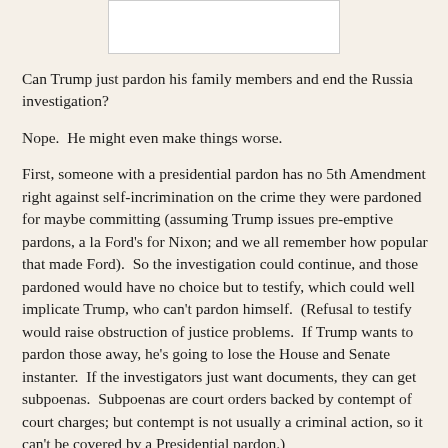[Figure (other): White rectangular box at top center of page, likely an image placeholder or clipped image area]
Can Trump just pardon his family members and end the Russia investigation?
Nope.  He might even make things worse.
First, someone with a presidential pardon has no 5th Amendment right against self-incrimination on the crime they were pardoned for maybe committing (assuming Trump issues pre-emptive pardons, a la Ford's for Nixon; and we all remember how popular that made Ford).  So the investigation could continue, and those pardoned would have no choice but to testify, which could well implicate Trump, who can't pardon himself.  (Refusal to testify would raise obstruction of justice problems.  If Trump wants to pardon those away, he's going to lose the House and Senate instanter.  If the investigators just want documents, they can get subpoenas.  Subpoenas are court orders backed by contempt of court charges; but contempt is not usually a criminal action, so it can't be covered by a Presidential pardon.)